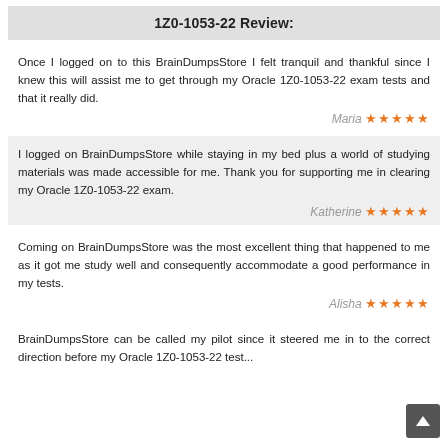1Z0-1053-22 Review:
Once I logged on to this BrainDumpsStore I felt tranquil and thankful since I knew this will assist me to get through my Oracle 1Z0-1053-22 exam tests and that it really did.
Maria ★★★★★
I logged on BrainDumpsStore while staying in my bed plus a world of studying materials was made accessible for me. Thank you for supporting me in clearing my Oracle 1Z0-1053-22 exam.
Katherine ★★★★★
Coming on BrainDumpsStore was the most excellent thing that happened to me as it got me study well and consequently accommodate a good performance in my tests.
Alisha ★★★★★
BrainDumpsStore can be called my pilot since it steered me in to the correct direction before my Oracle 1Z0-1053-22 test...